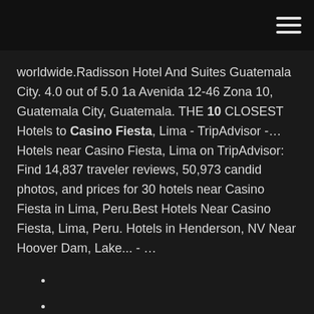worldwide.Radisson Hotel And Suites Guatemala City. 4.0 out of 5.0 1a Avenida 12-46 Zona 10, Guatemala City, Guatemala. THE 10 CLOSEST Hotels to Casino Fiesta, Lima - TripAdvisor -… Hotels near Casino Fiesta, Lima on TripAdvisor: Find 14,837 traveler reviews, 50,973 candid photos, and prices for 30 hotels near Casino Fiesta in Lima, Peru.Best Hotels Near Casino Fiesta, Lima, Peru. Hotels in Henderson, NV Near Hoover Dam, Lake... - …